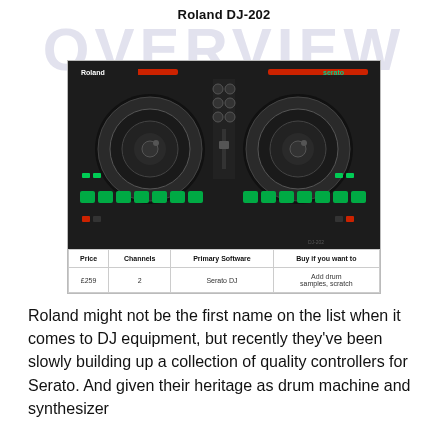Roland DJ-202
[Figure (photo): Photo of the Roland DJ-202 DJ controller, a black hardware unit with two jog wheels, green-lit pads, mixer faders, and Serato branding.]
| Price | Channels | Primary Software | Buy if you want to |
| --- | --- | --- | --- |
| £259 | 2 | Serato DJ | Add drum samples, scratch |
Roland might not be the first name on the list when it comes to DJ equipment, but recently they've been slowly building up a collection of quality controllers for Serato. And given their heritage as drum machine and synthesizer